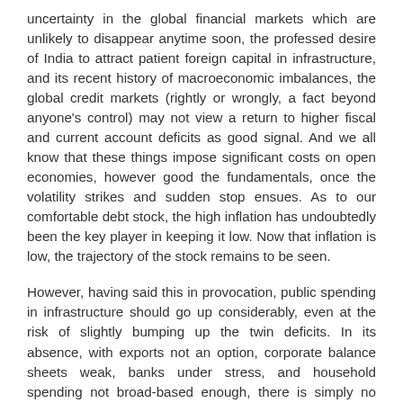uncertainty in the global financial markets which are unlikely to disappear anytime soon, the professed desire of India to attract patient foreign capital in infrastructure, and its recent history of macroeconomic imbalances, the global credit markets (rightly or wrongly, a fact beyond anyone's control) may not view a return to higher fiscal and current account deficits as good signal. And we all know that these things impose significant costs on open economies, however good the fundamentals, once the volatility strikes and sudden stop ensues. As to our comfortable debt stock, the high inflation has undoubtedly been the key player in keeping it low. Now that inflation is low, the trajectory of the stock remains to be seen.
However, having said this in provocation, public spending in infrastructure should go up considerably, even at the risk of slightly bumping up the twin deficits. In its absence, with exports not an option, corporate balance sheets weak, banks under stress, and household spending not broad-based enough, there is simply no engine to restore growth and the economy may remain entrapped in the gridlock for long enough to do irreparable damage.